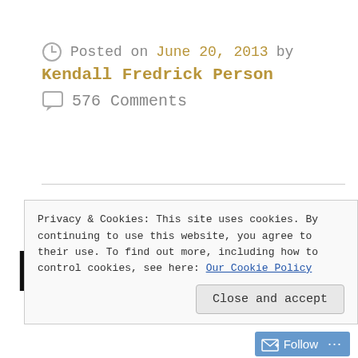Posted on June 20, 2013 by Kendall Fredrick Person
576 Comments
BLOGGING
Privacy & Cookies: This site uses cookies. By continuing to use this website, you agree to their use. To find out more, including how to control cookies, see here: Our Cookie Policy
Close and accept
Follow